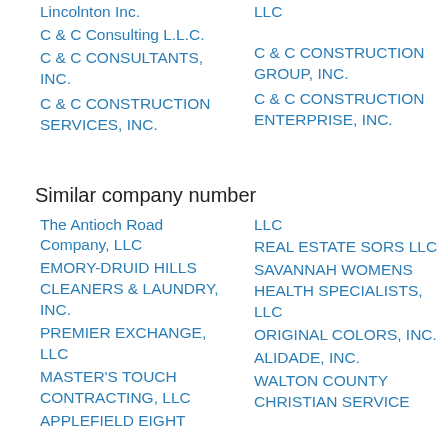Lincolnton Inc.
LLC
C & C Consulting L.L.C.
C & C CONSTRUCTION GROUP, INC.
C & C CONSULTANTS, INC.
C & C CONSTRUCTION ENTERPRISE, INC.
C & C CONSTRUCTION SERVICES, INC.
Similar company number
The Antioch Road Company, LLC
LLC
EMORY-DRUID HILLS CLEANERS & LAUNDRY, INC.
REAL ESTATE SORS LLC
PREMIER EXCHANGE, LLC
SAVANNAH WOMENS HEALTH SPECIALISTS, LLC
MASTER'S TOUCH CONTRACTING, LLC
ORIGINAL COLORS, INC.
APPLEFIELD EIGHT
ALIDADE, INC.
WALTON COUNTY CHRISTIAN SERVICE